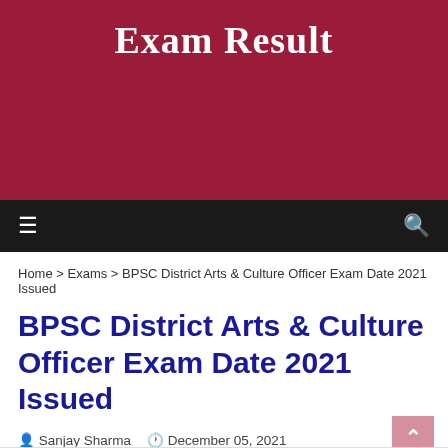Exam Result
Home > Exams > BPSC District Arts & Culture Officer Exam Date 2021 Issued
BPSC District Arts & Culture Officer Exam Date 2021 Issued
Sanjay Sharma  December 05, 2021